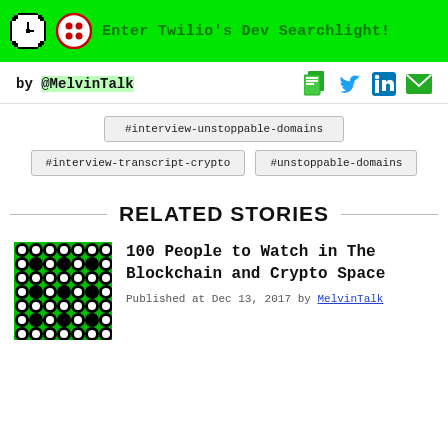Enter Twilio's Dev Searchlight!
by @MelvinTalk
#interview-unstoppable-domains
#interview-transcript-crypto
#unstoppable-domains
RELATED STORIES
[Figure (photo): Green and black pixel/pattern thumbnail image]
100 People to Watch in The Blockchain and Crypto Space
Published at Dec 13, 2017 by MelvinTalk